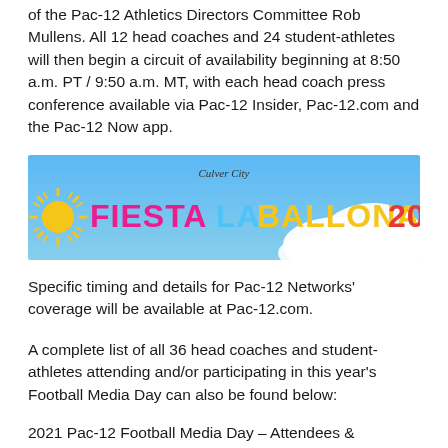of the Pac-12 Athletics Directors Committee Rob Mullens. All 12 head coaches and 24 student-athletes will then begin a circuit of availability beginning at 8:50 a.m. PT / 9:50 a.m. MT, with each head coach press conference available via Pac-12 Insider, Pac-12.com and the Pac-12 Now app.
[Figure (other): Fiesta La Ballona 2022 promotional banner with colorful text on a blue sky with clouds background. 'Culver City' appears at the top in script. 'FIESTA LA BALLONA 2022' appears in large multicolor letters with a decorative sun on the left side.]
Specific timing and details for Pac-12 Networks' coverage will be available at Pac-12.com.
A complete list of all 36 head coaches and student-athletes attending and/or participating in this year's Football Media Day can also be found below:
2021 Pac-12 Football Media Day – Attendees &